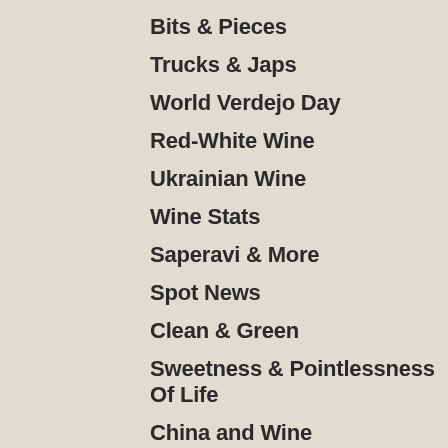Bits & Pieces
Trucks & Japs
World Verdejo Day
Red-White Wine
Ukrainian Wine
Wine Stats
Saperavi & More
Spot News
Clean & Green
Sweetness & Pointlessness Of Life
China and Wine
It ain't natural!